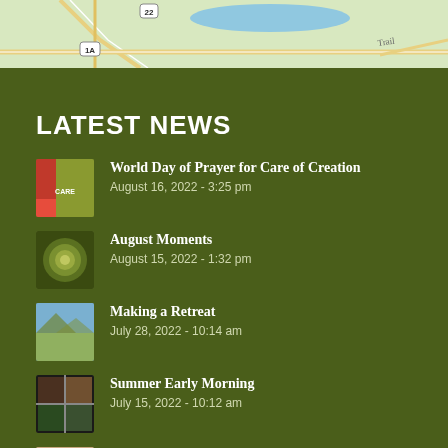[Figure (map): Map showing roads including routes 22 and 1A, with a river/water body and Trail label visible. Green and beige road map with yellow road lines.]
LATEST NEWS
World Day of Prayer for Care of Creation
August 16, 2022 - 3:25 pm
August Moments
August 15, 2022 - 1:32 pm
Making a Retreat
July 28, 2022 - 10:14 am
Summer Early Morning
July 15, 2022 - 10:12 am
God the Restorer and Nourisher Prayer